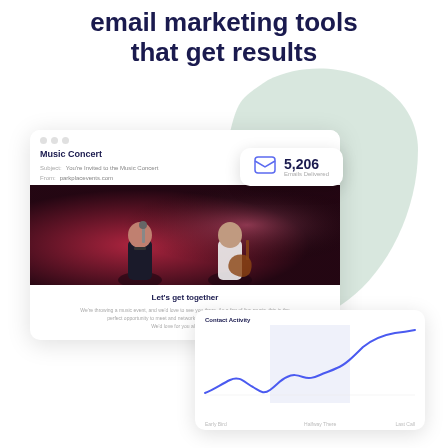email marketing tools that get results
[Figure (screenshot): Email marketing platform UI screenshot showing a Music Concert email campaign with a photo of two musicians on stage in red/pink lighting, a stats badge showing 5,206 Emails Delivered, and a line chart showing email performance over time with three time periods labeled]
5,206
Emails Delivered
Music Concert
Subject: You're Invited to the Music Concert
From: parkplacevents.com
Let's get together
We're throwing a music event, and we'd love to see you there. As a fan of live music, this is the perfect opportunity to meet and network with like minded music lovers. We'd love for you all to join us.
Contact Activity chart with three time periods